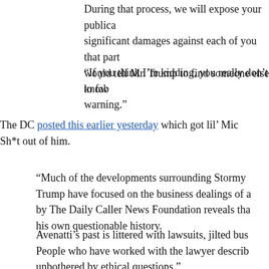During that process, we will expose your publica significant damages against each of you that part would tell Mr. Trump to find someone else to fab
“If you think I’m kidding, you really don’t know warning.”
The DC posted this earlier yesterday which got lil’ Mic Sh*t out of him.
"Much of the developments surrounding Stormy Trump have focused on the business dealings of a by The Daily Caller News Foundation reveals tha his own questionable history.
Avenatti’s past is littered with lawsuits, jilted bus People who have worked with the lawyer describ unbothered by ethical questions."